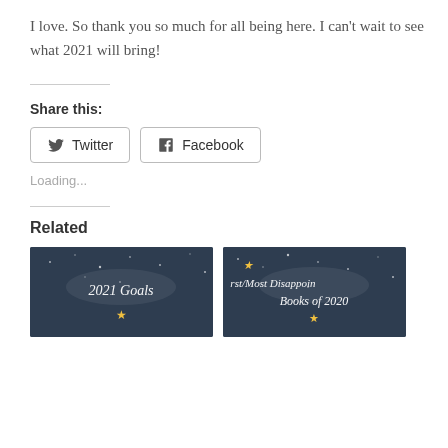I love. So thank you so much for all being here. I can't wait to see what 2021 will bring!
Share this:
[Figure (other): Twitter and Facebook social share buttons]
Loading...
Related
[Figure (other): Dark starry background image with text '2021 Goals' in italic script with yellow stars]
[Figure (other): Dark starry background image with partial text 'rst/Most Disappoin... Books of 2020' in italic script with yellow stars]